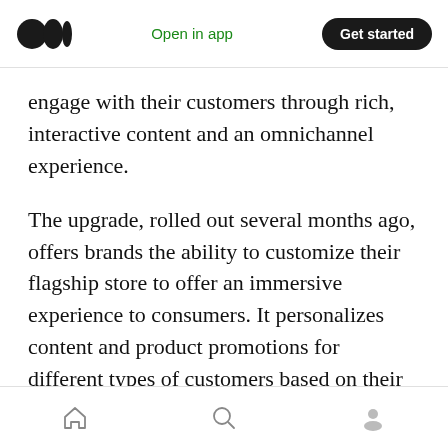Open in app | Get started
engage with their customers through rich, interactive content and an omnichannel experience.
The upgrade, rolled out several months ago, offers brands the ability to customize their flagship store to offer an immersive experience to consumers. It personalizes content and product promotions for different types of customers based on their profiles. Over the next year, Tmall expects several thousand brands to upgrade their storefronts to 2.0.
Home | Search | Profile